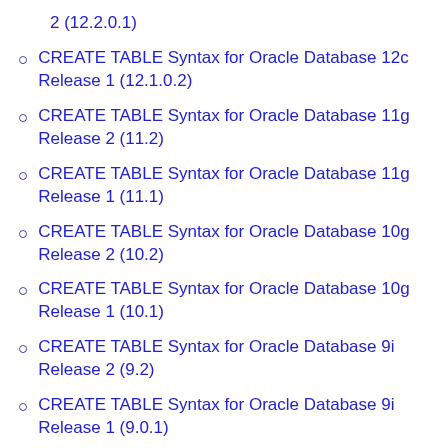2 (12.2.0.1)
CREATE TABLE Syntax for Oracle Database 12c Release 1 (12.1.0.2)
CREATE TABLE Syntax for Oracle Database 11g Release 2 (11.2)
CREATE TABLE Syntax for Oracle Database 11g Release 1 (11.1)
CREATE TABLE Syntax for Oracle Database 10g Release 2 (10.2)
CREATE TABLE Syntax for Oracle Database 10g Release 1 (10.1)
CREATE TABLE Syntax for Oracle Database 9i Release 2 (9.2)
CREATE TABLE Syntax for Oracle Database 9i Release 1 (9.0.1)
CREATE TABLE Syntax for Oracle Database 8i Release 1 (partial)